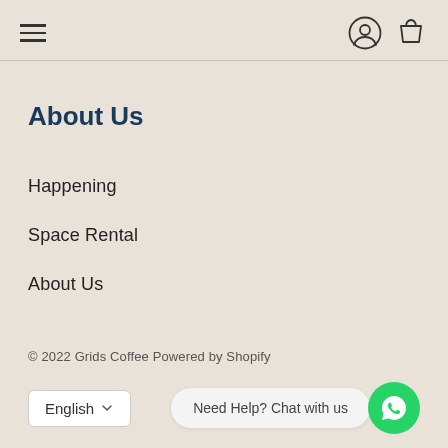Navigation header with hamburger menu and user/cart icons
About Us
Happening
Space Rental
About Us
© 2022 Grids Coffee Powered by Shopify
Need Help? Chat with us
English